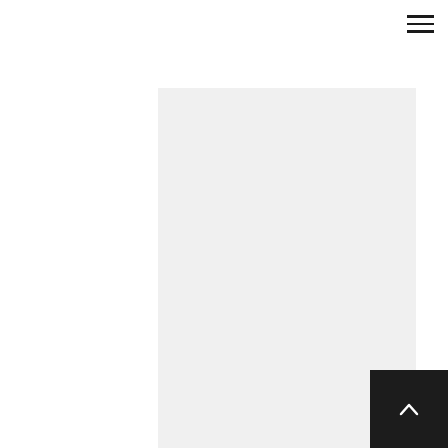[Figure (photo): A large light gray placeholder image area occupying the upper portion of the page]
Outside in the street, I wear an N95 mask and a tee shirt and jeans.  Late at night, I love the feeling of the cool just-before-summer air on my skin, my long wet hair growing longer, and the sound of Brooklyn winding up, winding up for a change of season.
I think about empty subway cars, and